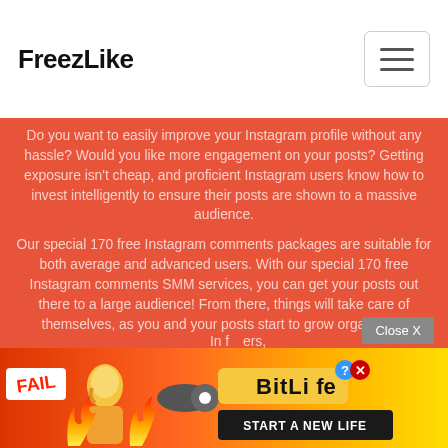FreezLike
Do you want to easily improve your Instagram profile without any hassle? Would you like more engagement on your posts? Getting exposure isn't cheap, and proficient Instagram users know how to invest intelligently to ensure their posts are shown to a massive audience.
Our special 170 free Instagram comments packages are suitable for both average and advanced users. With our special 170 free Instagram comments SMM services, you can get your posts out there to a large audience! From there, things will take care of themselves, as you and your posts start to grow organically.
In f...ers,
[Figure (advertisement): BitLife advertisement banner with FAIL badge, cartoon girl, flames, snake graphic, BitLife logo with question mark and X badges, and START A NEW LIFE button. Orange/yellow gradient background.]